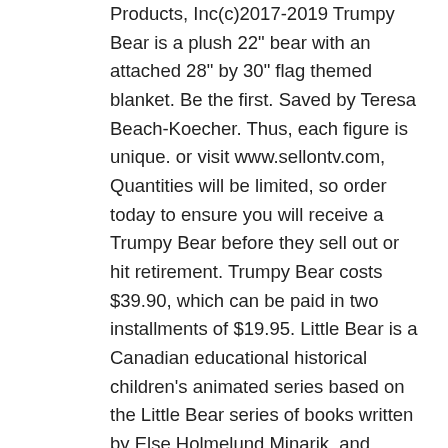Products, Inc(c)2017-2019 Trumpy Bear is a plush 22" bear with an attached 28" by 30" flag themed blanket. Be the first. Saved by Teresa Beach-Koecher. Thus, each figure is unique. or visit www.sellontv.com, Quantities will be limited, so order today to ensure you will receive a Trumpy Bear before they sell out or hit retirement. Trumpy Bear costs $39.90, which can be paid in two installments of $19.95. Little Bear is a Canadian educational historical children's animated series based on the Little Bear series of books written by Else Holmelund Minarik, and illustrated by Maurice Sendak; the program was originally produced for the CBC. This event is very different from other events as there is no sound indicating what is about to happen. These ship via USPS Priority. Get this from a library! Based upon a series of children's books, a grizzly cub has many misadventures with his friends. It follows the stories of a... well, little bear, his friends Hen, Owl, Cat, Duck, and Emily, who's a human.Later, they are joined